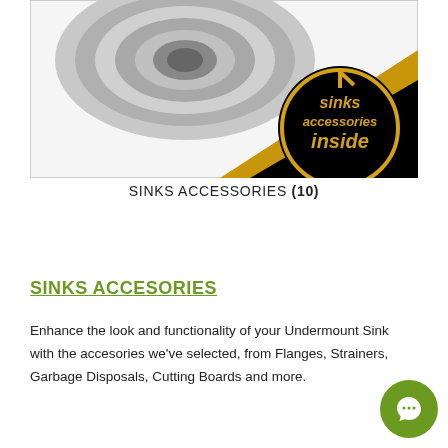[Figure (photo): Product image showing a sink drain/strainer in gray, with a black and gold banner in the bottom-right corner reading 'sinks accessories inside' in a circular badge style with gold text on black background.]
SINKS ACCESSORIES (10)
SINKS ACCESORIES
Enhance the look and functionality of your Undermount Sink with the accesories we've selected, from Flanges, Strainers, Garbage Disposals, Cutting Boards and more.